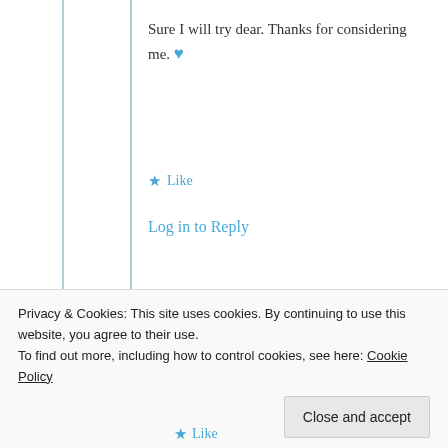Sure I will try dear. Thanks for considering me. 💙
★ Like
Log in to Reply
[Figure (photo): Avatar photo of Dakshali Gupta]
Dakshali Gupta
10th Jul 2021 at
★ Like
Privacy & Cookies: This site uses cookies. By continuing to use this website, you agree to their use.
To find out more, including how to control cookies, see here: Cookie Policy
Close and accept